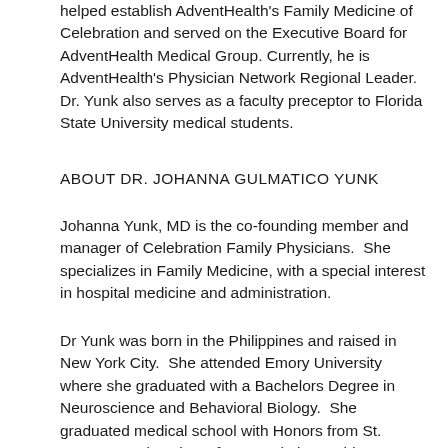helped establish AdventHealth's Family Medicine of Celebration and served on the Executive Board for AdventHealth Medical Group. Currently, he is AdventHealth's Physician Network Regional Leader. Dr. Yunk also serves as a faculty preceptor to Florida State University medical students.
ABOUT DR. JOHANNA GULMATICO YUNK
Johanna Yunk, MD is the co-founding member and manager of Celebration Family Physicians.  She specializes in Family Medicine, with a special interest in hospital medicine and administration.
Dr Yunk was born in the Philippines and raised in New York City.  She attended Emory University where she graduated with a Bachelors Degree in Neuroscience and Behavioral Biology.  She graduated medical school with Honors from St. George's University.  After completing residency at Florida Hospital, Dr Yunk served as a hospitalist at